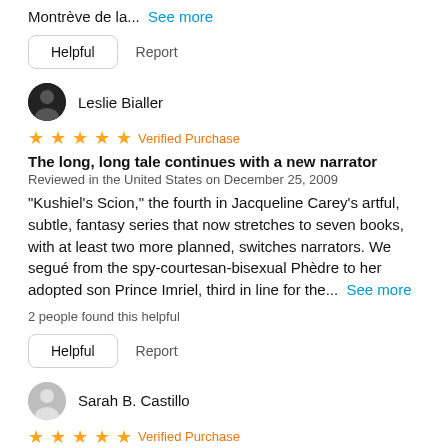Montrève de la...  See more
Helpful   Report
Leslie Bialler
★★★★★  Verified Purchase
The long, long tale continues with a new narrator
Reviewed in the United States on December 25, 2009
"Kushiel's Scion," the fourth in Jacqueline Carey's artful, subtle, fantasy series that now stretches to seven books, with at least two more planned, switches narrators. We segué from the spy-courtesan-bisexual Phèdre to her adopted son Prince Imriel, third in line for the...  See more
2 people found this helpful
Helpful   Report
Sarah B. Castillo
★★★★★  Verified Purchase